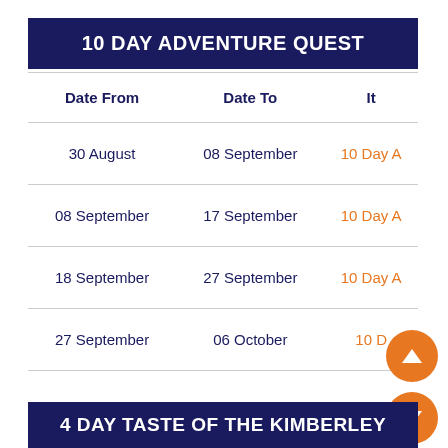10 DAY ADVENTURE QUEST
| Date From | Date To | It |
| --- | --- | --- |
| 30 August | 08 September | 10 Day A |
| 08 September | 17 September | 10 Day A |
| 18 September | 27 September | 10 Day A |
| 27 September | 06 October | 10 D |
4 DAY TASTE OF THE KIMBERLEY